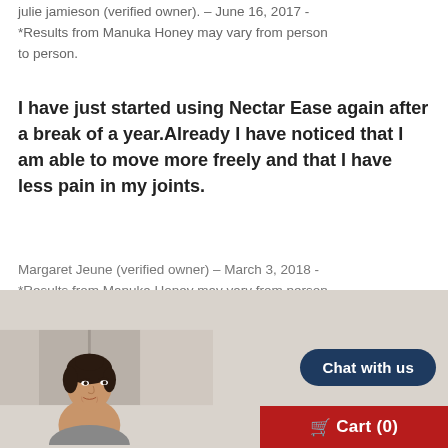julie jamieson (verified owner). – June 16, 2017 - *Results from Manuka Honey may vary from person to person.
I have just started using Nectar Ease again after a break of a year.Already I have noticed that I am able to move more freely and that I have less pain in my joints.
Margaret Jeune (verified owner) – March 3, 2018 - *Results from Manuka Honey may vary from person to person.
[Figure (photo): Photograph of a woman with dark hair pulled back, photographed indoors near a door, partially visible at bottom of page.]
Chat with us
Cart (0)